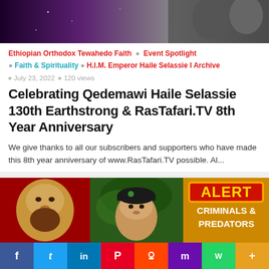[Figure (photo): Top banner image showing people at an event, dark purple and grey tones]
Ethiopian Orthodox Tewahedo Faith • Event Spotlight
• Faith & Spirituality • H.I.M. Emperor Haile Selassie I Archive
July 23, 2022 • 120 views
Celebrating Qedemawi Haile Selassie 130th Earthstrong & RasTafari.TV 8th Year Anniversary
We give thanks to all our subscribers and supporters who have made this 8th year anniversary of www.RasTafari.TV possible. Al...
[Figure (photo): Three-panel image: left shows Haile Selassie portrait on red background, middle shows a person wearing a black beret outdoors, right shows an orange alert graphic reading ALERT CRIMINALS & PREDATORS]
f  t  in  P  reddit  m  WhatsApp  More